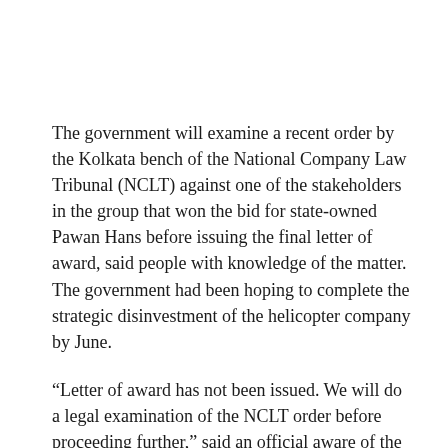The government will examine a recent order by the Kolkata bench of the National Company Law Tribunal (NCLT) against one of the stakeholders in the group that won the bid for state-owned Pawan Hans before issuing the final letter of award, said people with knowledge of the matter. The government had been hoping to complete the strategic disinvestment of the helicopter company by June.
“Letter of award has not been issued. We will do a legal examination of the NCLT order before proceeding further,” said an official aware of the development.